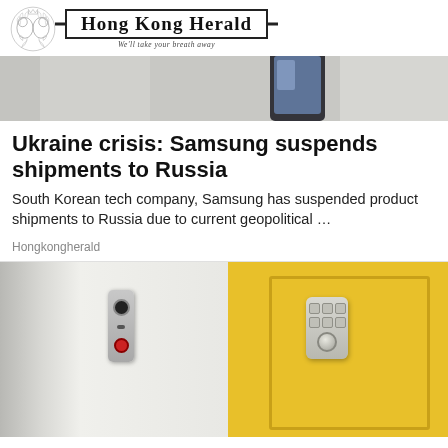[Figure (logo): Hong Kong Herald newspaper logo with lion crest emblem on left and text 'Hong Kong Herald' in a bordered banner with tagline 'We'll take your breath away']
[Figure (photo): Top partial image strip showing what appears to be a smartphone or tablet device against a gray background]
Ukraine crisis: Samsung suspends shipments to Russia
South Korean tech company, Samsung has suspended product shipments to Russia due to current geopolitical …
Hongkongherald
[Figure (photo): Photo of a smart doorbell camera mounted on a white/gray door panel next to a yellow front door with a smart lock keypad deadbolt installed]